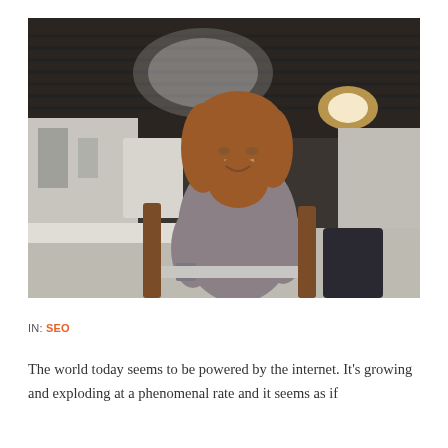[Figure (photo): A smiling woman with wavy auburn hair sits in a cafe working on a laptop. She wears a grey v-neck t-shirt and has visible tattoos on her arm. The background shows a coffee shop interior with a neon sign and moody lighting.]
IN: SEO
The world today seems to be powered by the internet. It's growing and exploding at a phenomenal rate and it seems as if